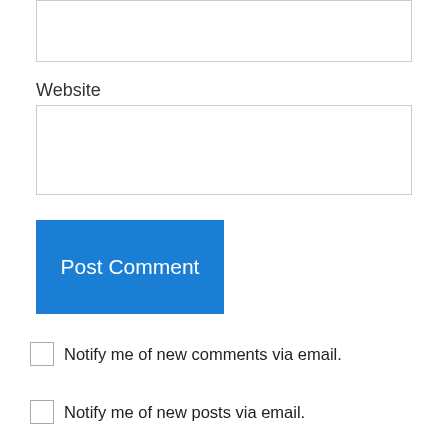Website
Post Comment
Notify me of new comments via email.
Notify me of new posts via email.
kolzy on November 13, 2013 at 6:02 am
Good article but to summarize all this by considering the learning of arabic is firstly needed for acquiring political power, this might